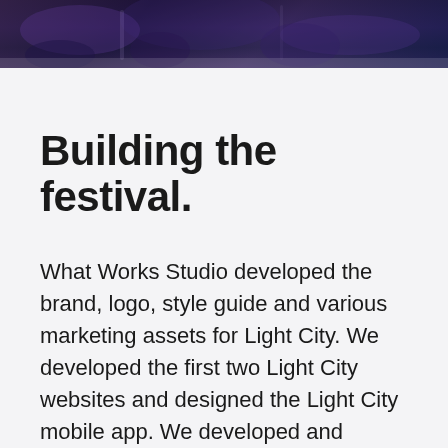[Figure (photo): Dark atmospheric photo strip at the top showing people at an event with purple and blue lighting]
Building the festival.
What Works Studio developed the brand, logo, style guide and various marketing assets for Light City. We developed the first two Light City websites and designed the Light City mobile app. We developed and managed the Light City social